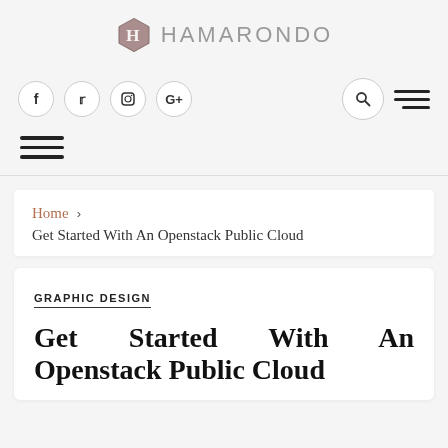HAMARONDO
[Figure (logo): Hamarondo hexagonal logo with stylized H shape in brown/mauve tones, followed by text HAMARONDO in spaced grey capitals]
f  Twitter  Instagram  G+  [search icon]  [menu icon]
[hamburger menu icon - three horizontal lines]
Home > Get Started With An Openstack Public Cloud
GRAPHIC DESIGN
Get Started With An Openstack Public Cloud